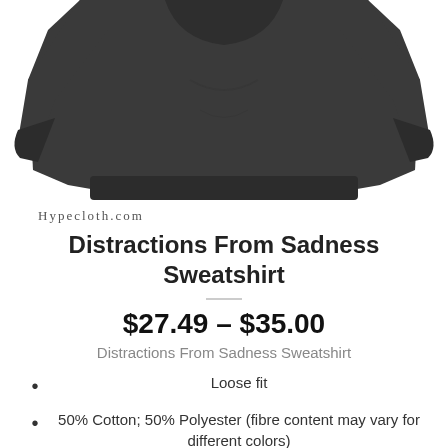[Figure (photo): Dark charcoal/black sweatshirt product photo, cropped to show the body and lower sleeves from above, on a white background]
Hypecloth.com
Distractions From Sadness Sweatshirt
$27.49 – $35.00
Distractions From Sadness Sweatshirt
Loose fit
50% Cotton; 50% Polyester (fibre content may vary for different colors)